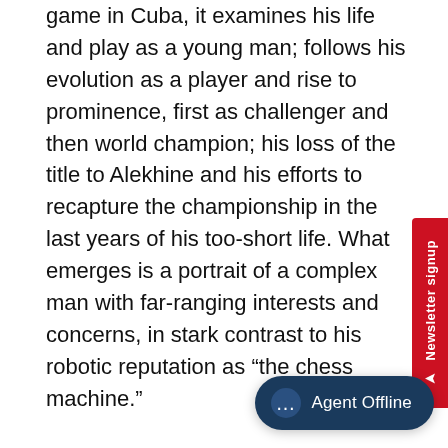game in Cuba, it examines his life and play as a young man; follows his evolution as a player and rise to prominence, first as challenger and then world champion; his loss of the title to Alekhine and his efforts to recapture the championship in the last years of his too-short life. What emerges is a portrait of a complex man with far-ranging interests and concerns, in stark contrast to his robotic reputation as “the chess machine.”
Meticulously researched, utilizing many sources available only in Capablanca’s home country, it puts truth to legend regarding a man who stood astride the chess world in of its most dynamic and dramatic eras. Numerous games and diagrams enrich the text, as do a wealth of photographs...
[Figure (other): Red vertical Newsletter signup tab on right edge]
[Figure (other): Dark blue Agent Offline chat bubble button at bottom right]